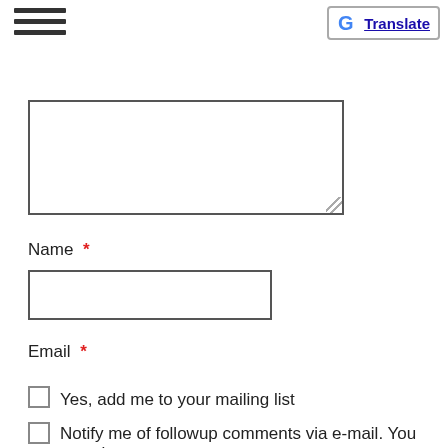[Figure (other): Hamburger/menu icon with three horizontal lines]
[Figure (other): Google Translate button with G logo and Translate text underlined]
[Figure (other): Empty textarea form field with resize handle]
Name *
[Figure (other): Empty text input box for Name]
Email *
[Figure (other): Empty text input box for Email]
Website
[Figure (other): Empty text input box for Website]
Yes, add me to your mailing list
Notify me of followup comments via e-mail. You can also